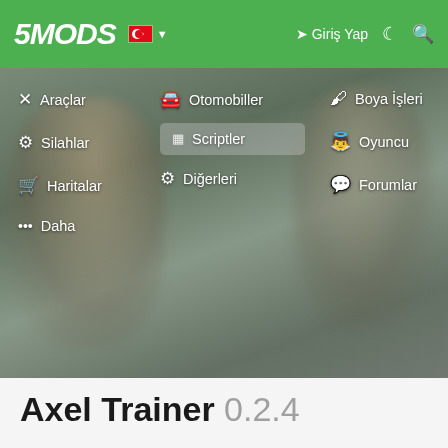[Figure (screenshot): 5MODS website header with green navigation bar showing logo '5MODS', Turkish flag language selector, login button 'Giriş Yap', moon icon, and search icon. Below is a hero image with blurred background and dropdown navigation menu showing: Araçlar, Silahlar, Haritalar, Daha (left column), Otomobiller, Scriptler (highlighted), Diğerleri (center column), Boya İşleri, Oyuncu, Forumlar (right column).]
Axel Trainer 0.2.4